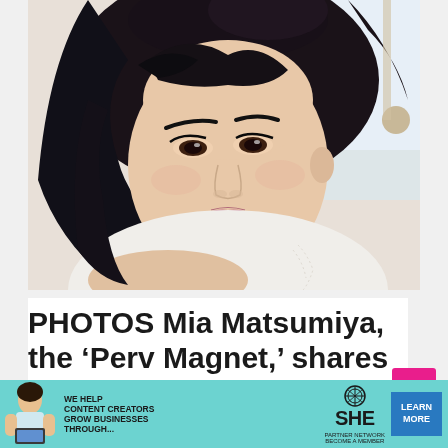[Figure (photo): Close-up selfie photo of a young Asian woman with dark hair styled up with bangs, wearing a white top, looking directly at the camera in a bright indoor setting.]
PHOTOS Mia Matsumiya, the ‘Perv Magnet,’ shares 10 years of messages from lemons and minded to stop online
[Figure (photo): Advertisement banner for SHE Partner Network: We help content creators grow businesses through... Learn More]